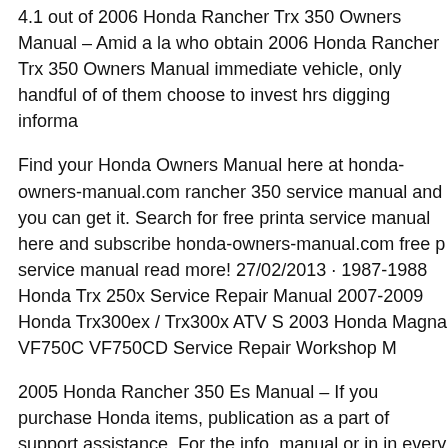4.1 out of 2006 Honda Rancher Trx 350 Owners Manual – Amid a la who obtain 2006 Honda Rancher Trx 350 Owners Manual immediate vehicle, only handful of of them choose to invest hrs digging informa
Find your Honda Owners Manual here at honda-owners-manual.com rancher 350 service manual and you can get it. Search for free printa service manual here and subscribe honda-owners-manual.com free p service manual read more! 27/02/2013 · 1987-1988 Honda Trx 250x Service Repair Manual 2007-2009 Honda Trx300ex / Trx300x ATV S 2003 Honda Magna VF750C VF750CD Service Repair Workshop M
2005 Honda Rancher 350 Es Manual – If you purchase Honda items, publication as a part of support assistance. For the info, manual or in in every single product or service. 2005 Honda Rancher 350 Es Man 2000-2003 Honda TRX350TM/TE Rancher & TRX350FM/FE Ranc .PDF file available for download; see end of video for details. Date o
Find many great new & used options and get the best deals for Hond ES 4x4 Original Owners Manual at the best online prices at eBay! Fr products! Find many great new & used options and get the best dea